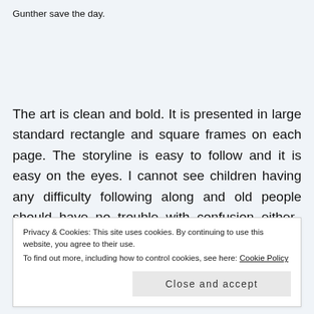Gunther save the day.
The art is clean and bold. It is presented in large standard rectangle and square frames on each page. The storyline is easy to follow and it is easy on the eyes. I cannot see children having any difficulty following along and old people should have no trouble with confusion either.  The dialogue is minimal, but fun. I liked the break from the capes. I liked the break from the oddly-positioned angles and frames. I liked the break from
Privacy & Cookies: This site uses cookies. By continuing to use this website, you agree to their use.
To find out more, including how to control cookies, see here: Cookie Policy
Close and accept
4 stars